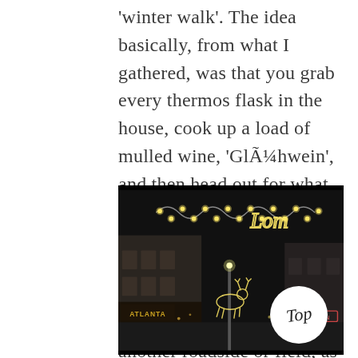'winter walk'. The idea basically, from what I gathered, was that you grab every thermos flask in the house, cook up a load of mulled wine, 'Glühwein', and then head out for what is essentially high-class knacker drinking; the act of occupying roadsides and fields and enjoying a few tipples before moving on to another roadside or field, as appropriate.
[Figure (photo): Night street scene with Christmas lights strung across the road in decorative wavy patterns and a reindeer shape. Shops visible including one labeled ATLANTA. A circular white badge with 'Top' written in italic script is overlaid in the bottom right corner.]